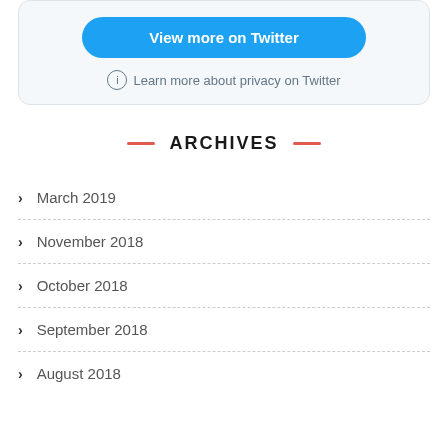[Figure (screenshot): Twitter widget with a blue 'View more on Twitter' button and a privacy info link]
ARCHIVES
March 2019
November 2018
October 2018
September 2018
August 2018